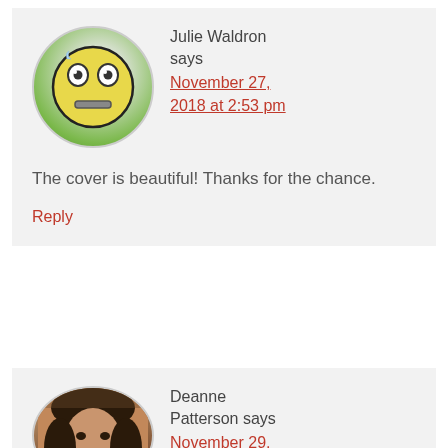[Figure (illustration): Circular avatar with a yellow emoji face showing a worried/overwhelmed expression with white eyes and frown, on a green gradient background]
Julie Waldron says
November 27, 2018 at 2:53 pm
The cover is beautiful! Thanks for the chance.
Reply
[Figure (photo): Circular avatar photo of a woman with dark hair]
Deanne Patterson says
November 29,